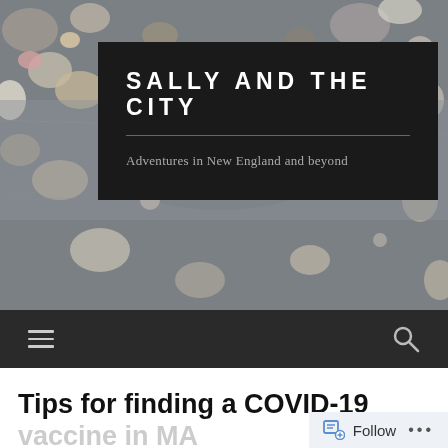[Figure (photo): Background photo of pebbles and rocks on a surface, muted grey and tan tones, serving as the hero image header for the blog.]
SALLY AND THE CITY
Adventures in New England and beyond
≡   🔍
Tips for finding a COVID-19 vaccine in MA
Follow  •••